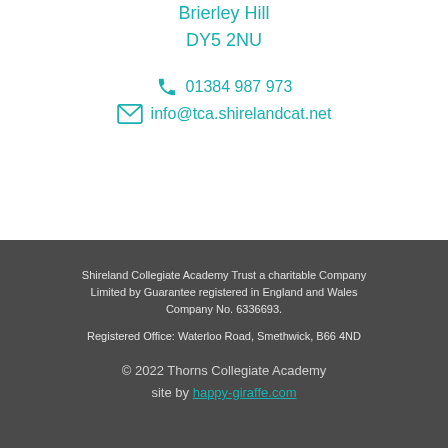Brierley Hill
DY5 2NU
01384 987 973
info@tca.shirelandcat.net
Shireland Collegiate Academy Trust a charitable Company Limited by Guarantee registered in England and Wales Company No. 6336693.

Registered Office: Waterloo Road, Smethwick, B66 4ND

© 2022 Thorns Collegiate Academy
site by happy-giraffe.com